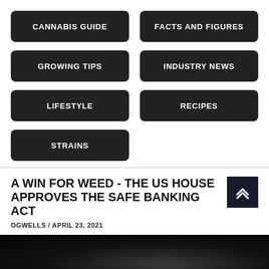CANNABIS GUIDE
FACTS AND FIGURES
GROWING TIPS
INDUSTRY NEWS
LIFESTYLE
RECIPES
STRAINS
A WIN FOR WEED - THE US HOUSE APPROVES THE SAFE BANKING ACT
OGWELLS / APRIL 23, 2021
[Figure (photo): Dark close-up photo of cannabis]